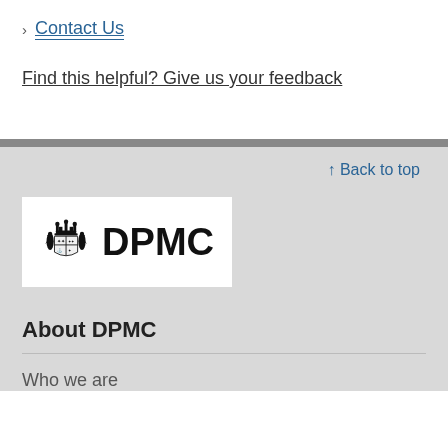Contact Us
Find this helpful? Give us your feedback
↑ Back to top
[Figure (logo): DPMC logo with New Zealand government crest on the left and bold text 'DPMC' on the right, on a white background]
About DPMC
Who we are